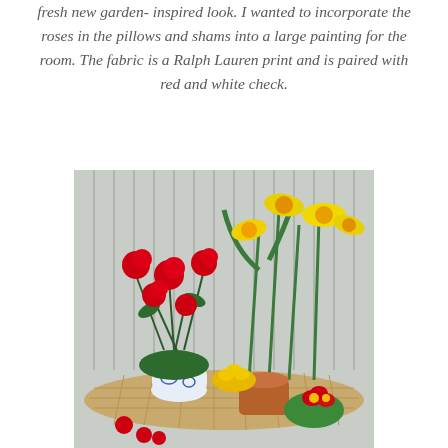fresh new garden- inspired look. I wanted to incorporate the roses in the pillows and shams into a large painting for the room. The fabric is a Ralph Lauren print and is paired with red and white check.
[Figure (photo): A floral arrangement on a wicker table featuring red roses in a blue and white porcelain vase, yellow daffodils in a terracotta pot, yellow primrose flowers, and red and yellow primulas, set against a pale slatted background.]